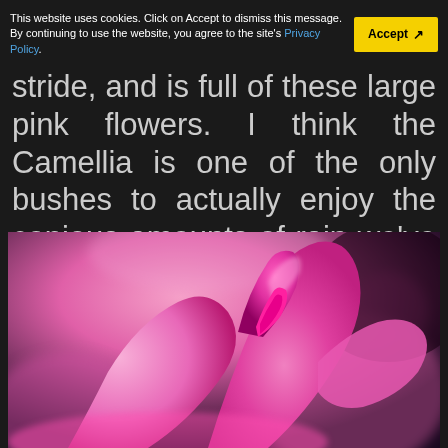This website uses cookies. Click on Accept to dismiss this message. By continuing to use the website, you agree to the site's Privacy Policy.
stride, and is full of these large pink flowers. I think the Camellia is one of the only bushes to actually enjoy the copious amounts of rain we've had over winter.
[Figure (photo): Close-up macro photograph of pink Camellia flower petals against a blurred pink and dark background]